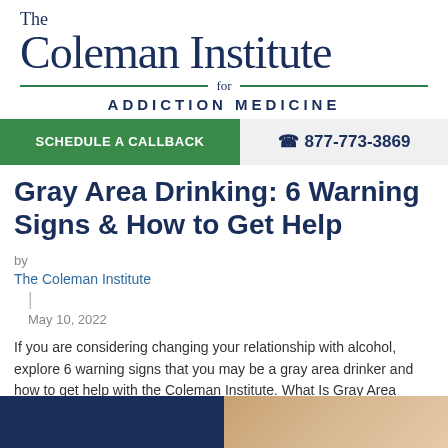The Coleman Institute for ADDICTION MEDICINE
Gray Area Drinking: 6 Warning Signs & How to Get Help
by
The Coleman Institute
May 10, 2022
If you are considering changing your relationship with alcohol, explore 6 warning signs that you may be a gray area drinker and how to get help with the Coleman Institute. What Is Gray Area Drinking? As we begin to think about Substance Use Disorders (SUD) in new...
[Figure (photo): Bottom banner image showing a person, partially visible, with blue and tan/skin-tone background split.]